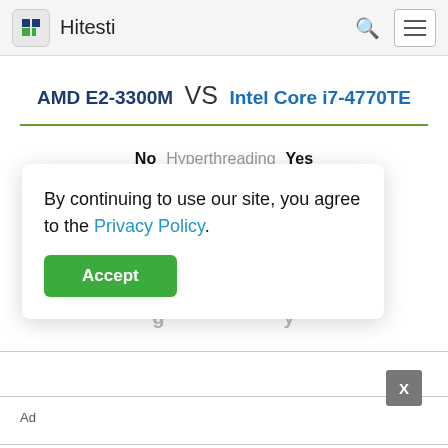Hitesti
AMD E2-3300M VS Intel Core i7-4770TE
No   Hyperthreading   Yes
By continuing to use our site, you agree to the Privacy Policy. Accept
Ad